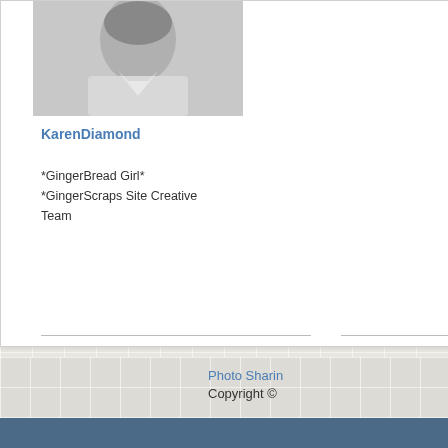[Figure (photo): Black and white portrait photo of a person in white shirt]
[Figure (illustration): Decorative blue floral digital scrapbook element with flowers, leaves, and a dark circle with letter K]
KarenDiamond
*GingerBread Girl*
*GingerScraps Site Creative Team
[Figure (photo): Small partial photo of cupcakes or desserts, partially visible]
Photo Sharing Copyright ©
All times are GM
Powered by
Copyright © 2022 vBulle